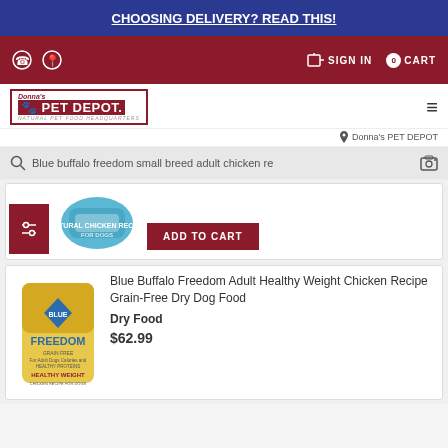CHOOSING DELIVERY? READ THIS!
[Figure (screenshot): Navigation bar with phone icon, location icon, sign in, and cart buttons on dark red background]
[Figure (logo): Donna's PET DEPOT logo with paw icon and tagline Natural PET FOOD HEADQUARTERS]
Donna's PET DEPOT
Blue buffalo freedom small breed adult chicken re
ADD TO CART
Blue Buffalo Freedom Adult Healthy Weight Chicken Recipe Grain-Free Dry Dog Food
Dry Food
$62.99